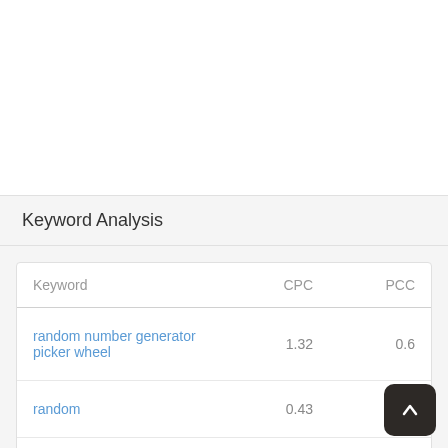Keyword Analysis
| Keyword | CPC | PCC |
| --- | --- | --- |
| random number generator picker wheel | 1.32 | 0.6 |
| random | 0.43 | 0.2 |
| number | 1.6 |  |